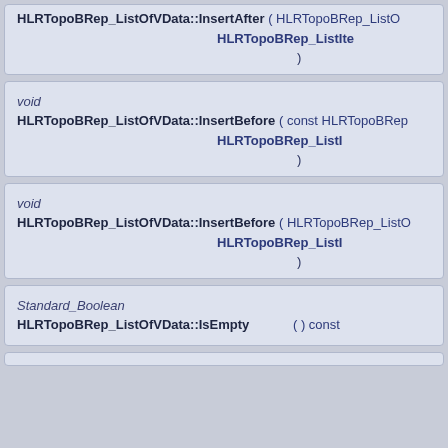HLRTopoBRep_ListOfVData::InsertAfter ( HLRTopoBRep_ListO... HLRTopoBRep_ListIte... )
void
HLRTopoBRep_ListOfVData::InsertBefore ( const HLRTopoBRep... HLRTopoBRep_ListI... )
void
HLRTopoBRep_ListOfVData::InsertBefore ( HLRTopoBRep_ListO... HLRTopoBRep_ListI... )
Standard_Boolean
HLRTopoBRep_ListOfVData::IsEmpty ( ) const